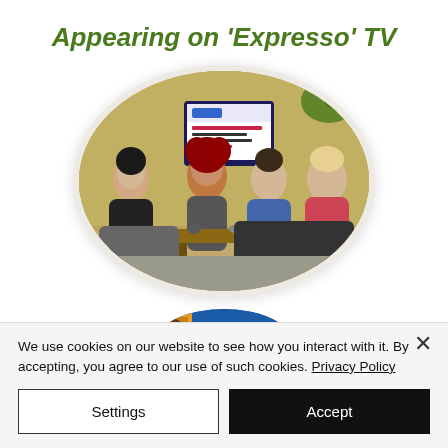Appearing on 'Expresso' TV
[Figure (photo): Oval-framed photo of four people seated in a TV studio set, with a presentation screen visible in background showing text about South Africa. Yellow/green wall with plants. Four people including a woman in floral black top, a woman in red hair, a man in denim jacket, and a woman in red floral dress.]
[Figure (photo): Partial view of a circular image showing the letters 'CAP' in large text, appears to be a Cape Town related logo or banner with blue and white colors.]
We use cookies on our website to see how you interact with it. By accepting, you agree to our use of such cookies. Privacy Policy
Settings
Accept